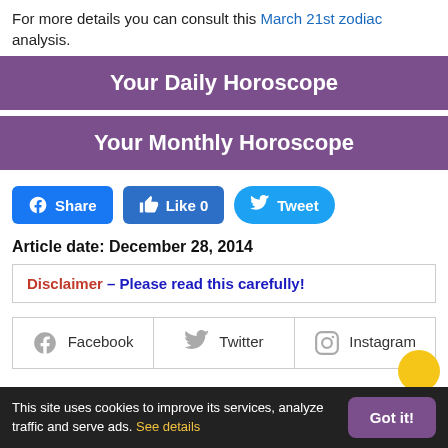For more details you can consult this March 21st zodiac analysis.
Your Daily Horoscope
Your Monthly Horoscope
Share   Like 0   Tweet
Article date: December 28, 2014
Disclaimer – Please read this carefully!
| Facebook | Twitter | Instagram |
| --- | --- | --- |
This site uses cookies to improve its services, analyze traffic and serve ads. See details